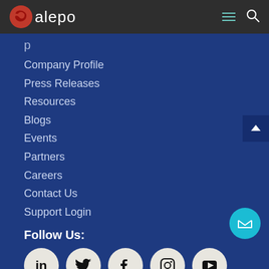alepo
Company Profile
Press Releases
Resources
Blogs
Events
Partners
Careers
Contact Us
Support Login
Follow Us:
[Figure (infographic): Five social media icons in light beige circles: LinkedIn, Twitter, Facebook, Instagram, YouTube]
Locations